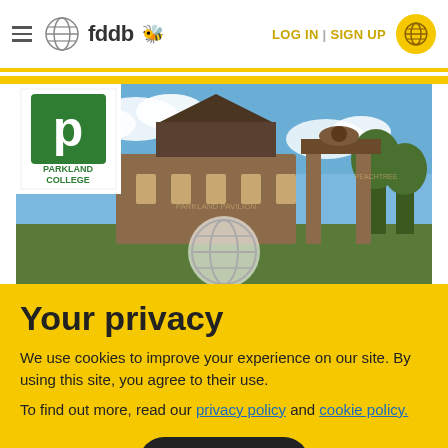fddb — LOG IN | SIGN UP
[Figure (photo): Parkland College campus building exterior photo with brick architecture and blue sky. Parkland College logo (green P in white box) visible in upper left of image. An fddb watermark globe logo overlaid at bottom center.]
Your privacy
We use cookies to improve your experience on our site. By using this site, you agree to their use.
To find out more, read our privacy policy and cookie policy.